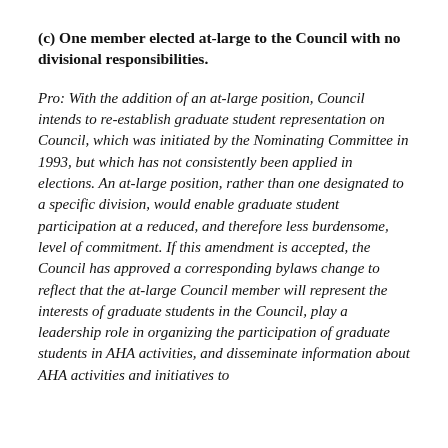(c) One member elected at-large to the Council with no divisional responsibilities.
Pro: With the addition of an at-large position, Council intends to re-establish graduate student representation on Council, which was initiated by the Nominating Committee in 1993, but which has not consistently been applied in elections. An at-large position, rather than one designated to a specific division, would enable graduate student participation at a reduced, and therefore less burdensome, level of commitment. If this amendment is accepted, the Council has approved a corresponding bylaws change to reflect that the at-large Council member will represent the interests of graduate students in the Council, play a leadership role in organizing the participation of graduate students in AHA activities, and disseminate information about AHA activities and initiatives to